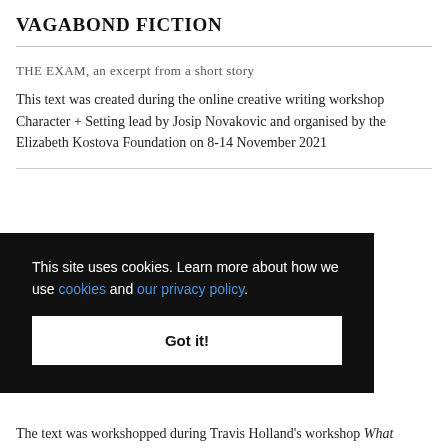VAGABOND FICTION
THE EXAM, an excerpt from a short story
This text was created during the online creative writing workshop Character + Setting lead by Josip Novakovic and organised by the Elizabeth Kostova Foundation on 8-14 November 2021
This site uses cookies. Learn more about how we use cookies and our privacy policy.
Got it!
The text was workshopped during Travis Holland's workshop What